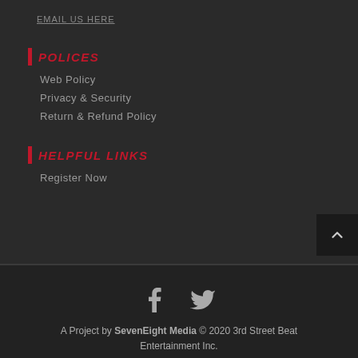EMAIL US HERE
POLICES
Web Policy
Privacy & Security
Return & Refund Policy
HELPFUL LINKS
Register Now
[Figure (other): Social media icons: Facebook and Twitter]
A Project by SevenEight Media © 2020 3rd Street Beat Entertainment Inc.